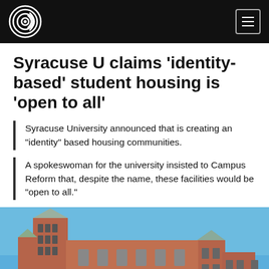Campus Reform logo and navigation menu
Syracuse U claims 'identity-based' student housing is 'open to all'
Syracuse University announced that is creating an "identity" based housing communities.
A spokeswoman for the university insisted to Campus Reform that, despite the name, these facilities would be "open to all."
[Figure (photo): Exterior photograph of a historic red-brick Gothic Revival university building (Crouse College at Syracuse University) with tall towers and turrets against a blue sky, with green trees visible at lower left.]